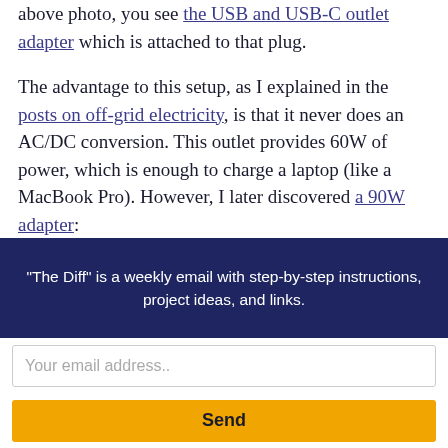above photo, you see the USB and USB-C outlet adapter which is attached to that plug.
The advantage to this setup, as I explained in the posts on off-grid electricity, is that it never does an AC/DC conversion. This outlet provides 60W of power, which is enough to charge a laptop (like a MacBook Pro). However, I later discovered a 90W adapter:
"The Diff" is a weekly email with step-by-step instructions, project ideas, and links.
Your email address..
Send